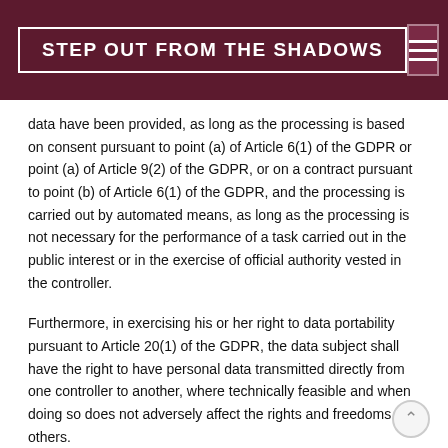STEP OUT FROM THE SHADOWS
data have been provided, as long as the processing is based on consent pursuant to point (a) of Article 6(1) of the GDPR or point (a) of Article 9(2) of the GDPR, or on a contract pursuant to point (b) of Article 6(1) of the GDPR, and the processing is carried out by automated means, as long as the processing is not necessary for the performance of a task carried out in the public interest or in the exercise of official authority vested in the controller.
Furthermore, in exercising his or her right to data portability pursuant to Article 20(1) of the GDPR, the data subject shall have the right to have personal data transmitted directly from one controller to another, where technically feasible and when doing so does not adversely affect the rights and freedoms of others.
In order to assert the right to data portability, the data subject